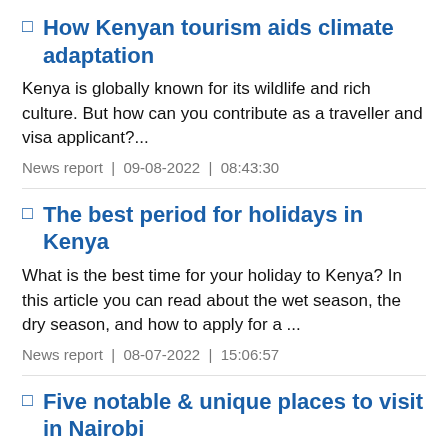How Kenyan tourism aids climate adaptation
Kenya is globally known for its wildlife and rich culture. But how can you contribute as a traveller and visa applicant?...
News report | 09-08-2022 | 08:43:30
The best period for holidays in Kenya
What is the best time for your holiday to Kenya? In this article you can read about the wet season, the dry season, and how to apply for a ...
News report | 08-07-2022 | 15:06:57
Five notable & unique places to visit in Nairobi...